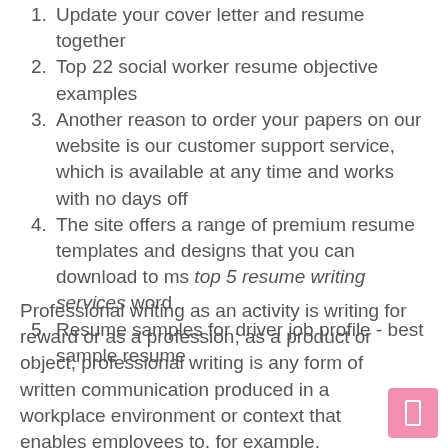Update your cover letter and resume together
Top 22 social worker resume objective examples
Another reason to order your papers on our website is our customer support service, which is available at any time and works with no days off
The site offers a range of premium resume templates and designs that you can download to ms top 5 resume writing services word
Resume samples for driver job profile - best sample resume
Professional writing as an activity is writing for reward or as a profession; as a product or object, professional writing is any form of written communication produced in a workplace environment or context that enables employees to, for example, communicate effectively among themselves, help leadership make informed decisions, advise clients, comply with federal, state, or local regulatory. If they are a small company with only two or three employees, they may not have the expertise to write a thesis. For instance, they're not interested in reading an online version of your work r. Resume and